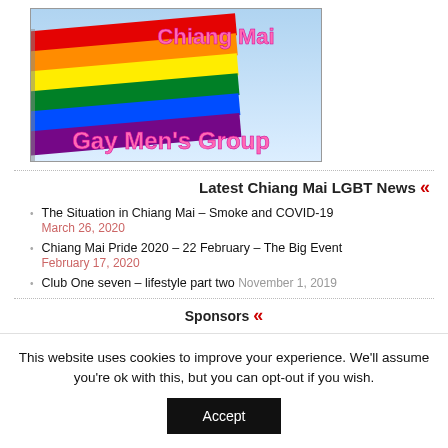[Figure (photo): Rainbow pride flag with text 'Chiang Mai' in pink at top and 'Gay Men's Group' in large pink bold font at bottom, against a blue sky background.]
Latest Chiang Mai LGBT News «
The Situation in Chiang Mai – Smoke and COVID-19 March 26, 2020
Chiang Mai Pride 2020 – 22 February – The Big Event February 17, 2020
Club One seven – lifestyle part two November 1, 2019
Sponsors «
This website uses cookies to improve your experience. We'll assume you're ok with this, but you can opt-out if you wish.
Accept